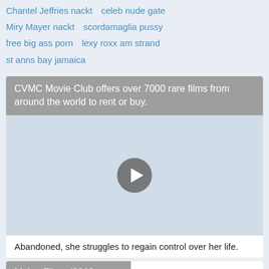Chantel Jeffries nackt   celeb nude gate
Miry Mayer nackt   scordamaglia pussy
free big ass porn   lexy roxx am strand
st anns bay jamaica
CVMC Movie Club offers over 7000 rare films from around the world to rent or buy.
[Figure (other): Video player area with play button on blue-grey background]
Abandoned, she struggles to regain control over her life.
Meine Filme (2013